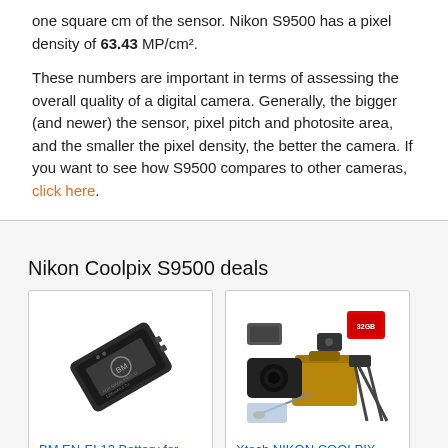one square cm of the sensor. Nikon S9500 has a pixel density of 63.43 MP/cm².
These numbers are important in terms of assessing the overall quality of a digital camera. Generally, the bigger (and newer) the sensor, pixel pitch and photosite area, and the smaller the pixel density, the better the camera. If you want to see how S9500 compares to other cameras, click here.
Nikon Coolpix S9500 deals
[Figure (photo): Product photo of BM EN-EL12 replacement battery for Nikon cameras, black rectangular lithium battery]
BM EN-EL12 Battery for Nikon Coolpix A1000, B600, W300, A...
$7.99 $8.99
[Figure (photo): Product photo of Xtech NIKON COOLPIX Accessories KIT including camera bag, tripod, SD card, and various accessories]
Xtech NIKON COOLPIX Accessories KIT for Nikon Co...
$59.00